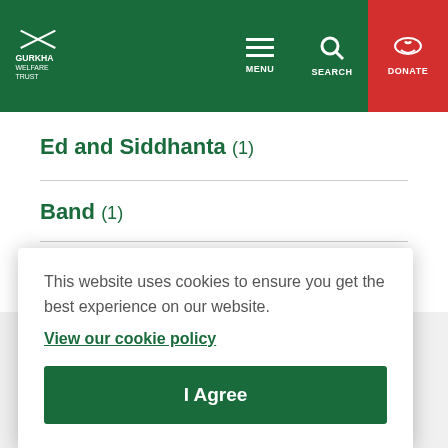Gurkha Welfare Trust — MENU | SEARCH | DONATE
Ed and Siddhanta (1)
Band (1)
Giveacar (1)
This website uses cookies to ensure you get the best experience on our website.
View our cookie policy
I Agree